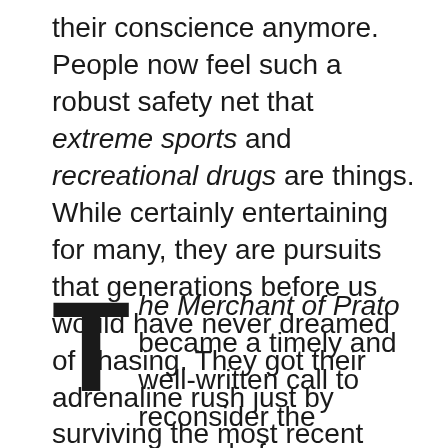their conscience anymore. People now feel such a robust safety net that extreme sports and recreational drugs are things. While certainly entertaining for many, they are pursuits that generations before us would have never dreamed of chasing. They got their adrenaline rush just by surviving the most recent outbreak, or the year, the week, the day.
The Merchant of Prato became a timely and well-written call to reconsider the counsel of our ancestors – wise, and versed in the ways